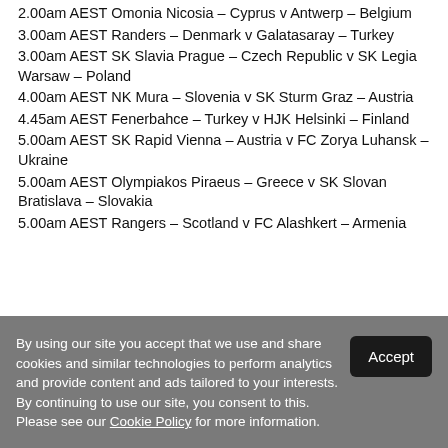2.00am AEST Omonia Nicosia – Cyprus v Antwerp – Belgium
3.00am AEST Randers – Denmark v Galatasaray – Turkey
3.00am AEST SK Slavia Prague – Czech Republic v SK Legia Warsaw – Poland
4.00am AEST NK Mura – Slovenia v SK Sturm Graz – Austria
4.45am AEST Fenerbahce – Turkey v HJK Helsinki – Finland
5.00am AEST SK Rapid Vienna – Austria v FC Zorya Luhansk – Ukraine
5.00am AEST Olympiakos Piraeus – Greece v SK Slovan Bratislava – Slovakia
5.00am AEST Rangers – Scotland v FC Alashkert – Armenia
By using our site you accept that we use and share cookies and similar technologies to perform analytics and provide content and ads tailored to your interests. By continuing to use our site, you consent to this. Please see our Cookie Policy for more information.